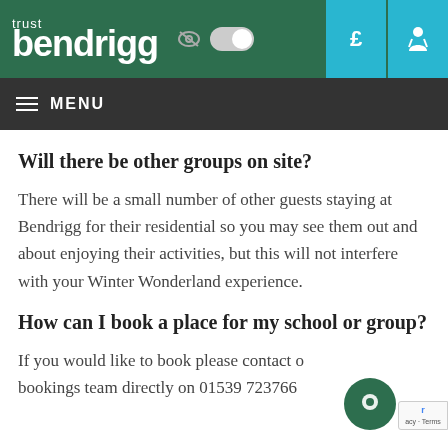bendrigg trust — MENU
Will there be other groups on site?
There will be a small number of other guests staying at Bendrigg for their residential so you may see them out and about enjoying their activities, but this will not interfere with your Winter Wonderland experience.
How can I book a place for my school or group?
If you would like to book please contact our bookings team directly on 01539 723766